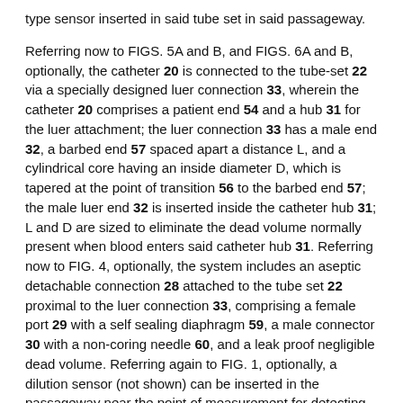type sensor inserted in said tube set in said passageway.
Referring now to FIGS. 5A and B, and FIGS. 6A and B, optionally, the catheter 20 is connected to the tube-set 22 via a specially designed luer connection 33, wherein the catheter 20 comprises a patient end 54 and a hub 31 for the luer attachment; the luer connection 33 has a male end 32, a barbed end 57 spaced apart a distance L, and a cylindrical core having an inside diameter D, which is tapered at the point of transition 56 to the barbed end 57; the male luer end 32 is inserted inside the catheter hub 31; L and D are sized to eliminate the dead volume normally present when blood enters said catheter hub 31. Referring now to FIG. 4, optionally, the system includes an aseptic detachable connection 28 attached to the tube set 22 proximal to the luer connection 33, comprising a female port 29 with a self sealing diaphragm 59, a male connector 30 with a non-coring needle 60, and a leak proof negligible dead volume. Referring again to FIG. 1, optionally, a dilution sensor (not shown) can be inserted in the passageway near the point of measurement for detecting the level of dilution of blood in the blood path. Optionally, the system can be configured to draw blood and dispense samples to